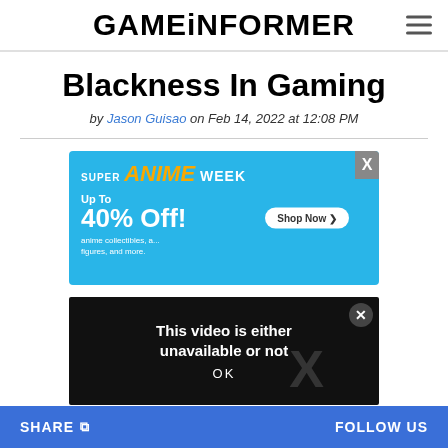GAMEINFORMER
Blackness In Gaming
by Jason Guisao on Feb 14, 2022 at 12:08 PM
[Figure (other): Super Anime Week advertisement banner: Up To 40% Off! anime collectibles, figures, and more. Shop Now button. Features anime figurines on blue background.]
[Figure (screenshot): Video error overlay on dark background: 'This video is either unavailable or not' with X icon and OK button.]
In recognition of som... gaming, we present th... rs that have graced our television screens and PC
SHARE   FOLLOW US